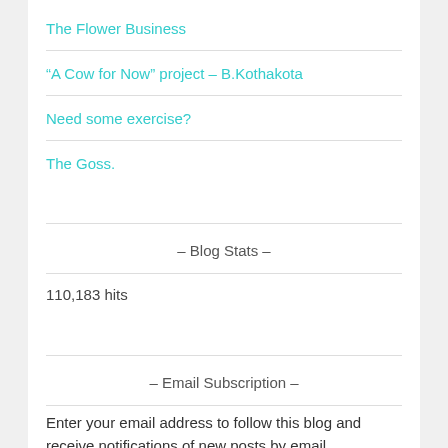The Flower Business
“A Cow for Now” project – B.Kothakota
Need some exercise?
The Goss.
– Blog Stats –
110,183 hits
– Email Subscription –
Enter your email address to follow this blog and receive notifications of new posts by email.